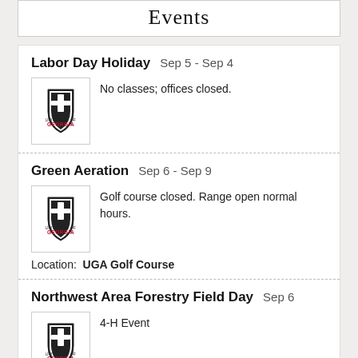Events
Labor Day Holiday  Sep 5 - Sep 4
No classes; offices closed.
Green Aeration  Sep 6 - Sep 9
Golf course closed. Range open normal hours.
Location:  UGA Golf Course
Northwest Area Forestry Field Day  Sep 6
4-H Event
Location:  Camp Westminster
CURO Information Session  Sep 6 2:20am